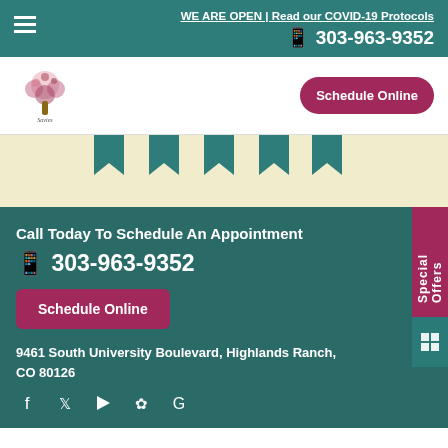WE ARE OPEN | Read our COVID-19 Protocols  303-963-9352
[Figure (logo): Tree/flower logo for a medical or wellness practice]
Schedule Online
[Figure (illustration): Five teal bookmark/pennant shapes on a cream background]
Call Today To Schedule An Appointment
303-963-9352
Schedule Online
9461 South University Boulevard, Highlands Ranch, CO 80126
Special Offers
[Figure (illustration): Social media icons: Facebook, Twitter, YouTube, Yelp, Google]